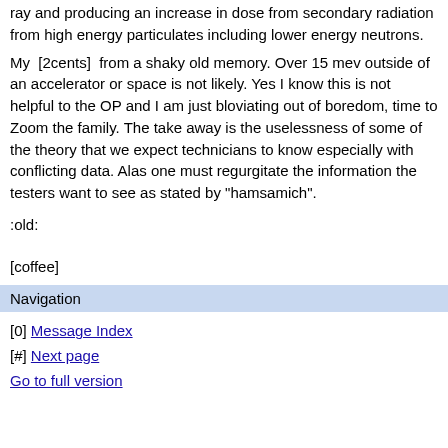ray and producing an increase in dose from secondary radiation from high energy particulates including lower energy neutrons.
My [2cents] from a shaky old memory. Over 15 mev outside of an accelerator or space is not likely. Yes I know this is not helpful to the OP and I am just bloviating out of boredom, time to Zoom the family. The take away is the uselessness of some of the theory that we expect technicians to know especially with conflicting data. Alas one must regurgitate the information the testers want to see as stated by "hamsamich".
:old:
[coffee]
Navigation
[0] Message Index
[#] Next page
Go to full version